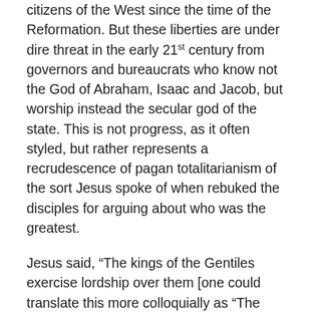citizens of the West since the time of the Reformation.  But these liberties are under dire threat in the early 21st century from governors and bureaucrats who know not the God of Abraham, Isaac and Jacob, but worship instead the secular god of the state.  This is not progress, as it often styled, but rather represents a recrudescence of pagan totalitarianism of the sort Jesus spoke of when rebuked the disciples for arguing about who was the greatest.
Jesus said, “The kings of the Gentiles exercise lordship over them [one could translate this more colloquially as “The kings of the Gentiles lord it over them”], and those who exercise authority over them are called ‘benefactors’ ”(Luke 22:25).   Not only did the ancient kings lord it over their people, but while doing so they also styled themselves “benefactors” of their people.  Indeed, many rulers in the ancient world bore the title “Euergetes”